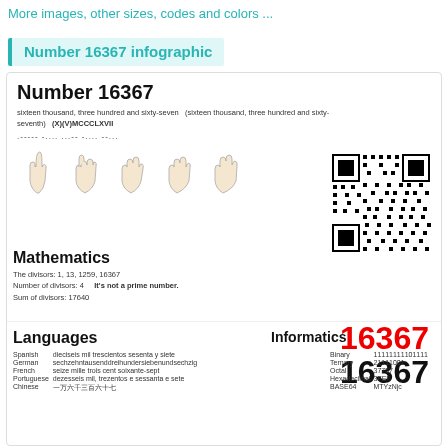More images, other sizes, codes and colors ...
Number 16367 infographic
Number 16367
sixteen thousand, three hundred and sixty-seven  (sixteen thousand, three hundred and sixty-seventh)  (X)(V)MCCCLXVII
.----- -.... ...-- -.... --...
[Figure (illustration): Five hand signs showing fingers for digits 1, 6, 3, 6, 7]
[Figure (other): QR code for number 16367]
Mathematics
The divisors: 1, 13, 1259, 16367
Number of divisors: 4     It's not a prime number.
Sum of divisors: 17640
16367
16367
Languages
| Language | Translation |
| --- | --- |
| Spanish | dieciseis mil trescientos sesenta y siete |
| German | sechzehntausenddreihundersiebenundsechzig |
| French | seize mille trois cent soixante-sept |
| Portuguese | dezesseis mil, trezentos e sessanta e sete |
| Chinese | 一万六千三百六十七 |
Informatics
| System | Value |
| --- | --- |
| Binary | 1111111101111 |
| Ternary | 21111001 |
| Octal | 37757 |
| Hexadecimal | 3FEF |
| BASE64 | MTYzNjc |